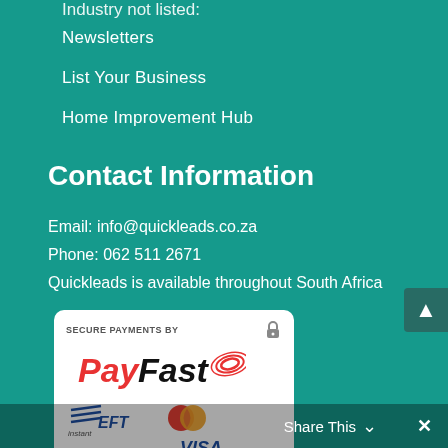Industry not listed:
Newsletters
List Your Business
Home Improvement Hub
Contact Information
Email: info@quickleads.co.za
Phone: 062 511 2671
Quickleads is available throughout South Africa
[Figure (logo): PayFast secure payment logo card showing PayFast branding, instant EFT, MasterCard, and VISA logos]
Share This